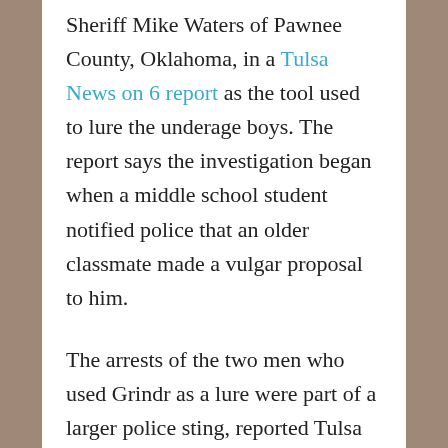Sheriff Mike Waters of Pawnee County, Oklahoma, in a Tulsa News on 6 report as the tool used to lure the underage boys. The report says the investigation began when a middle school student notified police that an older classmate made a vulgar proposal to him.
The arrests of the two men who used Grindr as a lure were part of a larger police sting, reported Tulsa News on 6 on March 10. The sting resulted in the arrests of 11 men by Oklahoma police investigators. One of the charges of the suspects has been dropped.
The Tulsa News on 6 report...